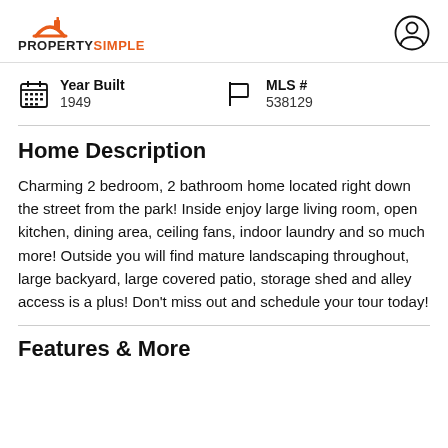PROPERTYSIMPLE
Year Built
1949
MLS #
538129
Home Description
Charming 2 bedroom, 2 bathroom home located right down the street from the park! Inside enjoy large living room, open kitchen, dining area, ceiling fans, indoor laundry and so much more! Outside you will find mature landscaping throughout, large backyard, large covered patio, storage shed and alley access is a plus! Don't miss out and schedule your tour today!
Features & More